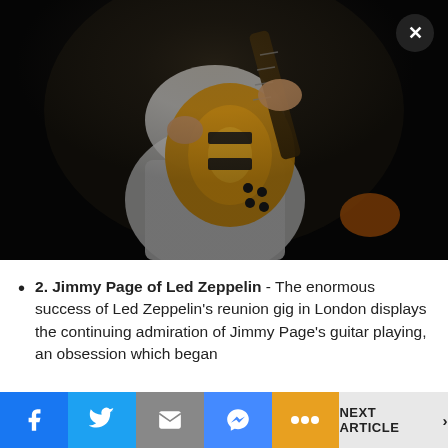[Figure (photo): Concert photo of a guitarist (Jimmy Page of Led Zeppelin) playing a sunburst Les Paul guitar on a dark stage, shown from the torso down, wearing white pants]
2. Jimmy Page of Led Zeppelin - The enormous success of Led Zeppelin’s reunion gig in London displays the continuing admiration of Jimmy Page’s guitar playing, an obsession which began
Facebook | Twitter | Email | Messenger | More | NEXT ARTICLE >